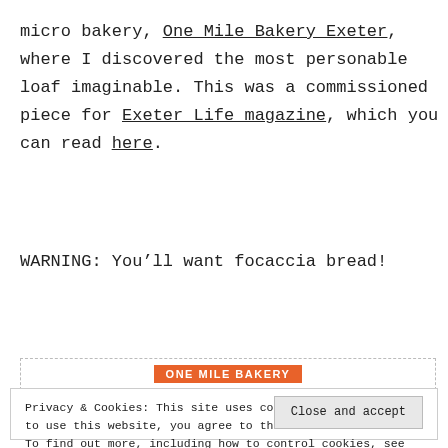micro bakery, One Mile Bakery Exeter, where I discovered the most personable loaf imaginable. This was a commissioned piece for Exeter Life magazine, which you can read here.
WARNING: You'll want focaccia bread!
[Figure (other): ONE MILE BAKERY embedded widget label, orange background with white text, dotted border]
Privacy & Cookies: This site uses cookies. By continuing to use this website, you agree to their use. To find out more, including how to control cookies, see here: Cookie Policy
Close and accept